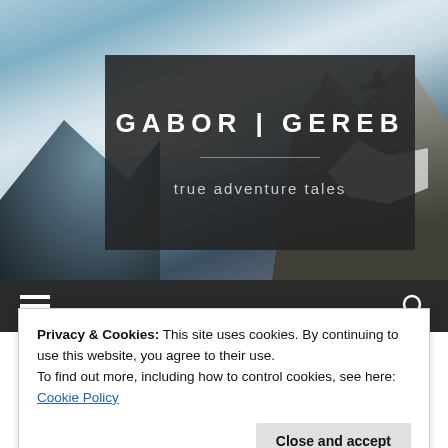[Figure (photo): Hero banner showing mountainous snowy landscape with dramatic sky, serving as website header background]
GABOR | GEREB
true adventure tales
[Figure (illustration): Navigation bar with hamburger menu icon and search icon on dark background]
Privacy & Cookies: This site uses cookies. By continuing to use this website, you agree to their use.
To find out more, including how to control cookies, see here: Cookie Policy
Close and accept